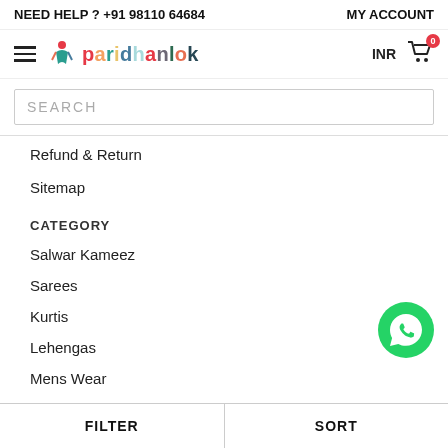NEED HELP ? +91 98110 64684    MY ACCOUNT
[Figure (logo): Paridhanlok logo with colorful text and icon]
INR  🛒 0
SEARCH
Refund & Return
Sitemap
CATEGORY
Salwar Kameez
Sarees
Kurtis
Lehengas
Mens Wear
Kids Wear
MY ACCOUNT
[Figure (illustration): WhatsApp green circle icon with phone handset]
FILTER    SORT